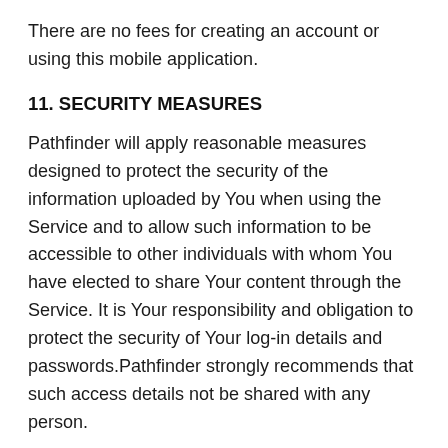There are no fees for creating an account or using this mobile application.
11. SECURITY MEASURES
Pathfinder will apply reasonable measures designed to protect the security of the information uploaded by You when using the Service and to allow such information to be accessible to other individuals with whom You have elected to share Your content through the Service. It is Your responsibility and obligation to protect the security of Your log-in details and passwords.Pathfinder strongly recommends that such access details not be shared with any person.
Pathfinder will be entitled (but not required) to apply security measures to protect the Service and